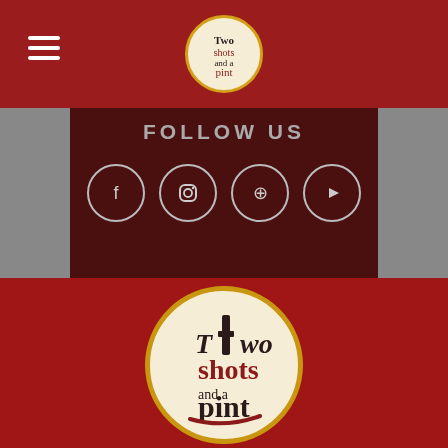Navigation bar with hamburger menu and Two Shots and a Pint logo
FOLLOW US
[Figure (other): Social media icons: Facebook, Instagram, Pinterest, YouTube in circular outlines]
[Figure (logo): Two Shots and a Pint circular logo with cream background and gold border]
We need to verify your age
ARE YOU OF LEGAL AGE TO DRINK ALCOHOL IN YOUR COUNTRY?
Yes